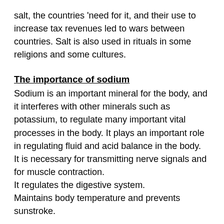salt, the countries 'need for it, and their use to increase tax revenues led to wars between countries. Salt is also used in rituals in some religions and some cultures.
The importance of sodium
Sodium is an important mineral for the body, and it interferes with other minerals such as potassium, to regulate many important vital processes in the body. It plays an important role in regulating fluid and acid balance in the body.
It is necessary for transmitting nerve signals and for muscle contraction.
It regulates the digestive system.
Maintains body temperature and prevents sunstroke.
Caveats
We have always been warned about salt - or what is known by the common scientific name sodium chloride - and the risks to our body and health from overuse.